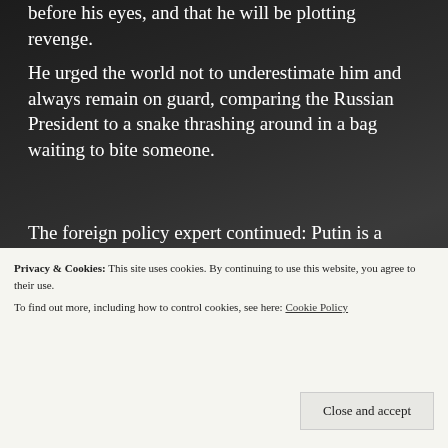before his eyes, and that he will be plotting revenge.
He urged the world not to underestimate him and always remain on guard, comparing the Russian President to a snake thrashing around in a bag waiting to bite someone.
The foreign policy expert continued: Putin is a very angry man these days, always thinking about revenge and all sorts of things.
He remains dangerous, as he always will be, so we have to be on our guard.
snakes still bite.
Privacy & Cookies: This site uses cookies. By continuing to use this website, you agree to their use. To find out more, including how to control cookies, see here: Cookie Policy
Close and accept